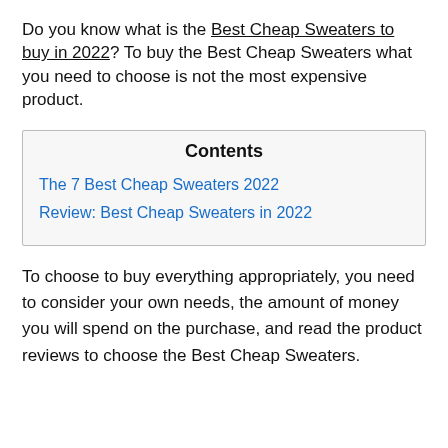Do you know what is the Best Cheap Sweaters to buy in 2022? To buy the Best Cheap Sweaters what you need to choose is not the most expensive product.
| Contents |
| --- |
| The 7 Best Cheap Sweaters 2022 |
| Review: Best Cheap Sweaters in 2022 |
To choose to buy everything appropriately, you need to consider your own needs, the amount of money you will spend on the purchase, and read the product reviews to choose the Best Cheap Sweaters.